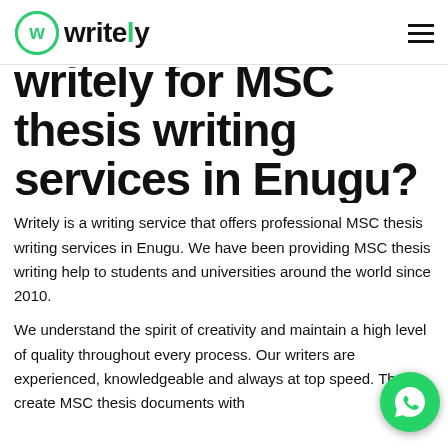writely
writely for MSC thesis writing services in Enugu?
Writely is a writing service that offers professional MSC thesis writing services in Enugu. We have been providing MSC thesis writing help to students and universities around the world since 2010.
We understand the spirit of creativity and maintain a high level of quality throughout every process. Our writers are experienced, knowledgeable and always at top speed. They create MSC thesis documents with